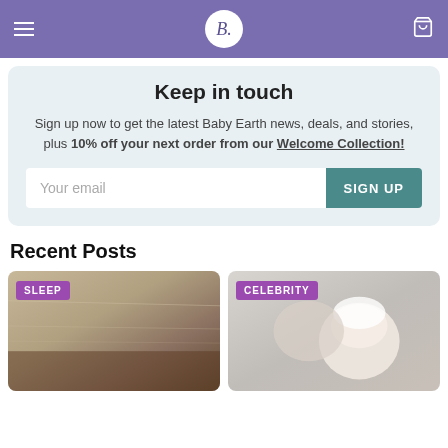B. (Baby Earth logo, hamburger menu, cart icon)
Keep in touch
Sign up now to get the latest Baby Earth news, deals, and stories, plus 10% off your next order from our Welcome Collection!
Recent Posts
[Figure (photo): Close-up of wooden furniture corner with warm wood grain, tagged SLEEP]
[Figure (photo): Newborn baby in white hat looking up, tagged CELEBRITY]